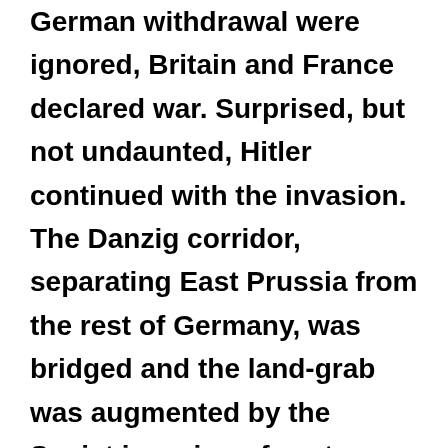German withdrawal were ignored, Britain and France declared war. Surprised, but not undaunted, Hitler continued with the invasion. The Danzig corridor, separating East Prussia from the rest of Germany, was bridged and the land-grab was augmented by the Soviet invasion of eastern Poland in mid-September. By 29 September, Germany and Soviet Russia had partitioned Poland between them.